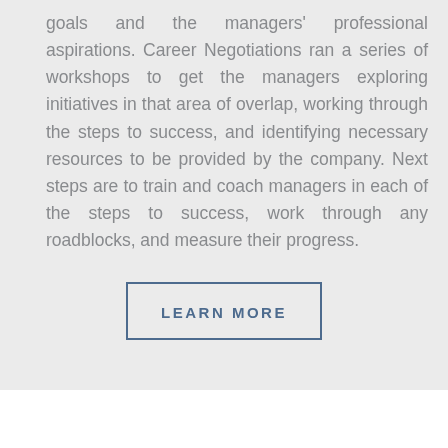goals and the managers' professional aspirations. Career Negotiations ran a series of workshops to get the managers exploring initiatives in that area of overlap, working through the steps to success, and identifying necessary resources to be provided by the company. Next steps are to train and coach managers in each of the steps to success, work through any roadblocks, and measure their progress.
LEARN MORE